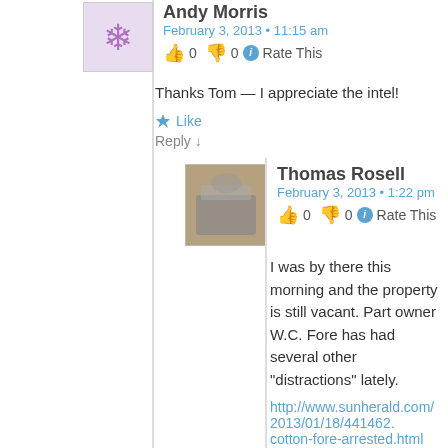Andy Morris
February 3, 2013 • 11:15 am
👍 0 👎 0 ℹ Rate This
Thanks Tom — I appreciate the intel!
Like
Reply ↓
Thomas Rosell
February 3, 2013 • 1:22 pm
👍 0 👎 0 ℹ Rate This
I was by there this morning and the property is still vacant. Part owner W.C. Fore has had several other "distractions" lately.
http://www.sunherald.com/2013/01/18/441462. cotton-fore-arrested.html
Like
Reply ↓